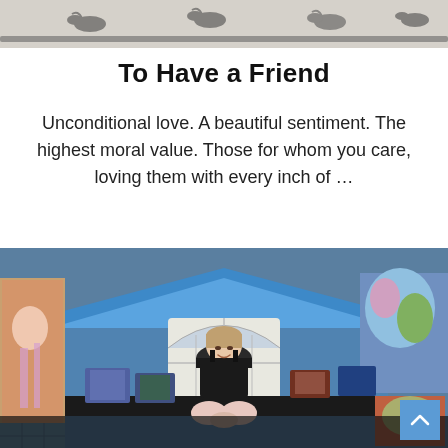[Figure (photo): Top portion of a photo showing decorative metal bird figures against a light background, cropped at the top of the page]
To Have a Friend
Unconditional love. A beautiful sentiment. The highest moral value. Those for whom you care, loving them with every inch of …
[Figure (photo): An artist (woman in dark overalls) sitting at a market or fair booth surrounded by colorful paintings and artwork displayed on panels, with a blue tent canopy behind her and a large arched window visible in the background]